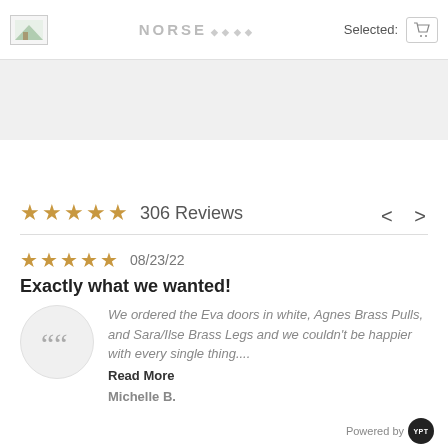NORSE — Selected:
[Figure (other): Gray banner/image placeholder bar]
< >
★★★★★ 306 Reviews
★★★★★ 08/23/22
Exactly what we wanted!
[Figure (illustration): Circular avatar with quotation mark icon]
We ordered the Eva doors in white, Agnes Brass Pulls, and Sara/Ilse Brass Legs and we couldn't be happier with every single thing....
Read More
Michelle B.
Powered by YPT